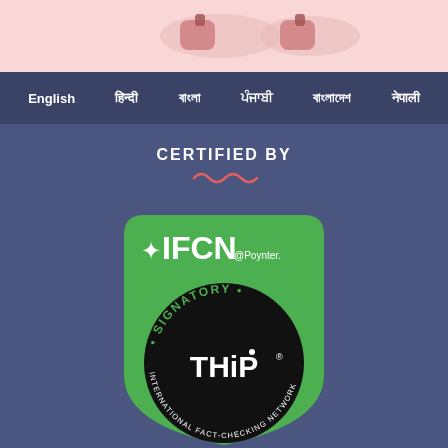[Figure (photo): Top pink banner with partial image of sandals/shoes]
English  हिन्दी  বাংলা  ਪੰਜਾਬੀ  বাংলাদেশ  नेपाली
CERTIFIED BY
[Figure (logo): IFCN @Poynter SIGNATORY THiP International Fact-Checking Network badge on green shield background]